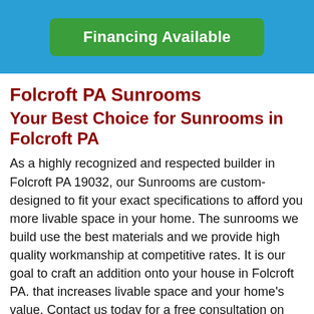Financing Available
Folcroft PA Sunrooms
Your Best Choice for Sunrooms in Folcroft PA
As a highly recognized and respected builder in Folcroft PA 19032, our Sunrooms are custom-designed to fit your exact specifications to afford you more livable space in your home. The sunrooms we build use the best materials and we provide high quality workmanship at competitive rates. It is our goal to craft an addition onto your house in Folcroft PA. that increases livable space and your home's value. Contact us today for a free consultation on your upcoming sunroom project and see what custom options we have for you.